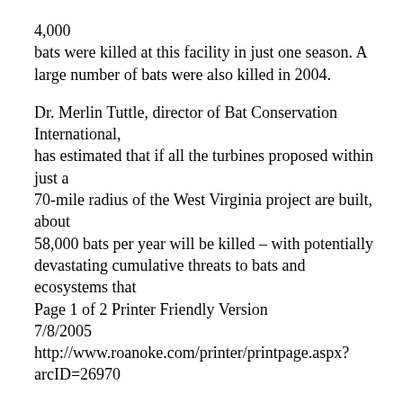4,000
bats were killed at this facility in just one season. A large number of bats were also killed in 2004.
Dr. Merlin Tuttle, director of Bat Conservation International,
has estimated that if all the turbines proposed within just a
70-mile radius of the West Virginia project are built, about
58,000 bats per year will be killed – with potentially devastating cumulative threats to bats and ecosystems that
Page 1 of 2 Printer Friendly Version
7/8/2005
http://www.roanoke.com/printer/printpage.aspx?arcID=26970
rely on them (see http://vawind.org/Assets/Docs/BCI_ridgetop_advisory.pdf).